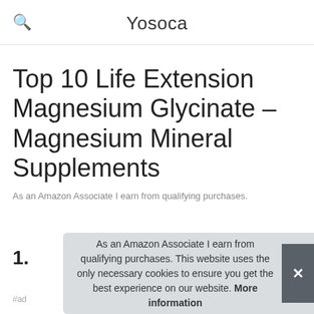Yosoca
Top 10 Life Extension Magnesium Glycinate – Magnesium Mineral Supplements
As an Amazon Associate I earn from qualifying purchases.
1.
As an Amazon Associate I earn from qualifying purchases. This website uses the only necessary cookies to ensure you get the best experience on our website. More information
#ad